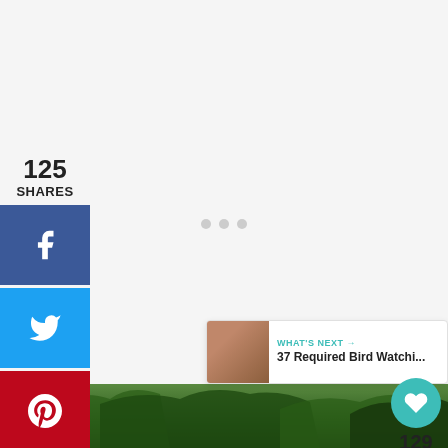125
SHARES
[Figure (screenshot): Facebook share button (blue square with white f icon)]
[Figure (screenshot): Twitter share button (blue square with white bird icon)]
[Figure (screenshot): Pinterest share button (red square with white P icon)]
[Figure (screenshot): Teal heart like button showing 129 likes, and a share/more button below]
129
[Figure (screenshot): What's Next card: thumbnail of people, label 'WHAT'S NEXT →', title '37 Required Bird Watchi...']
[Figure (photo): Bottom portion of outdoor nature photo showing tree branches and foliage against bright background]